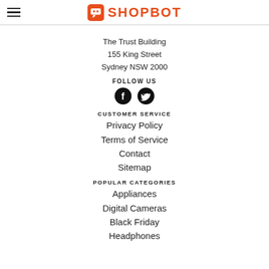SHOPBOT
The Trust Building
155 King Street
Sydney NSW 2000
FOLLOW US
[Figure (illustration): Facebook and Twitter social media icons (black circles with white logos)]
CUSTOMER SERVICE
Privacy Policy
Terms of Service
Contact
Sitemap
POPULAR CATEGORIES
Appliances
Digital Cameras
Black Friday
Headphones